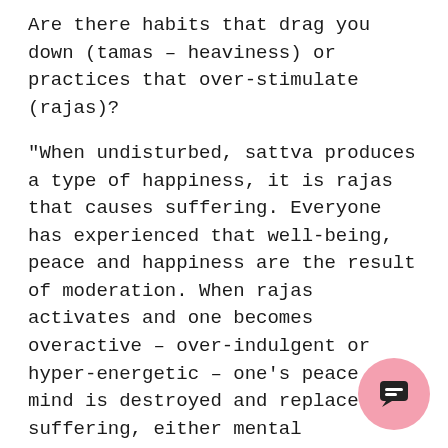Are there habits that drag you down (tamas – heaviness) or practices that over-stimulate (rajas)?
“When undisturbed, sattva produces a type of happiness, it is rajas that causes suffering. Everyone has experienced that well-being, peace and happiness are the result of moderation. When rajas activates and one becomes overactive – over-indulgent or hyper-energetic – one’s peace of mind is destroyed and replaced by suffering, either mental (anxiety/craving) or physical (ulcers/indigestion).
Likewise if tamas activates and inertia sets in, one cannot feel satisfied or self-content at all. Since the natural state of mind is sattva, it is rajas and tamas that are the disrupters. When Sattva is disrupted, suffering is the result.” Edwin F